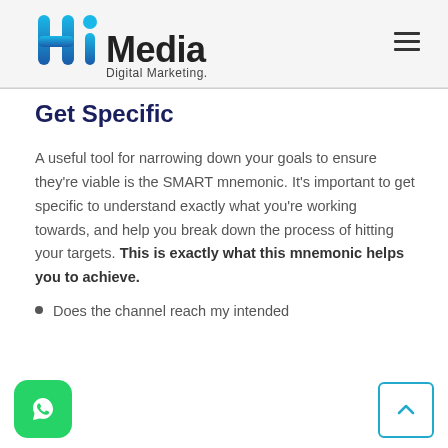[Figure (logo): Hi Media Digital Marketing logo — stylized 'Hi' letters in blue gradient with 'Media' in dark text and 'Digital Marketing.' subtitle]
Get Specific
A useful tool for narrowing down your goals to ensure they're viable is the SMART mnemonic. It's important to get specific to understand exactly what you're working towards, and help you break down the process of hitting your targets. This is exactly what this mnemonic helps you to achieve.
Does the channel reach my intended